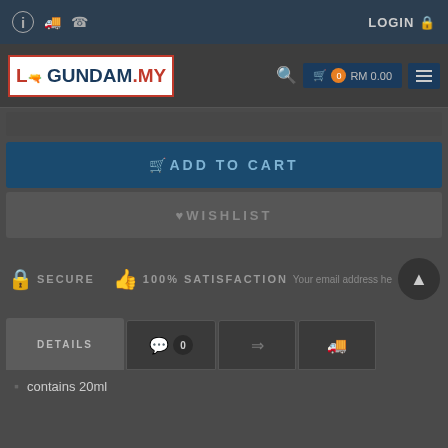LOGIN
[Figure (logo): LikeGundam.my logo - red and blue text logo]
RM 0.00  0
ADD TO CART
WISHLIST
SECURE  100% SATISFACTION  Your email address he...
DETAILS
contains 20ml